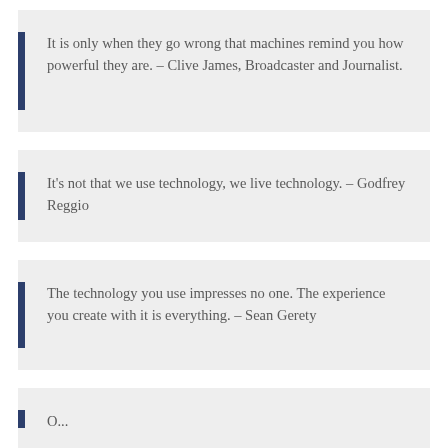It is only when they go wrong that machines remind you how powerful they are. – Clive James, Broadcaster and Journalist.
It's not that we use technology, we live technology. – Godfrey Reggio
The technology you use impresses no one. The experience you create with it is everything. – Sean Gerety
O...